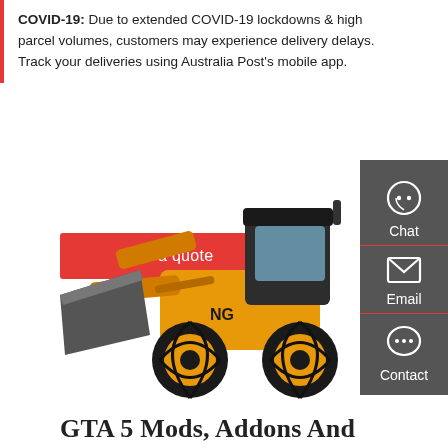COVID-19: Due to extended COVID-19 lockdowns & high parcel volumes, customers may experience delivery delays. Track your deliveries using Australia Post's mobile app.
Get a quote
[Figure (illustration): Sidebar panel with chat, email, and contact icons on dark grey background]
[Figure (photo): Yellow front-end loader / wheel loader construction vehicle (LONKING brand) on white background]
GTA 5 Mods, Addons And